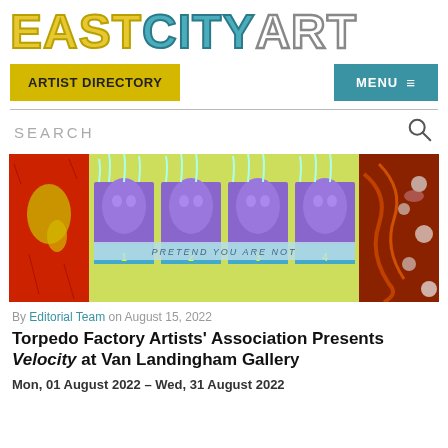EASTCITYART
ARTIST DIRECTORY
MENU ≡
SEARCH
[Figure (photo): Artwork collage showing abstract pieces including purple face-like forms with text 'PRETEND YOU ARE NOT' and numbered panels 1-4, with red textured art on sides]
By Editorial Team on August 15, 2022
Torpedo Factory Artists' Association Presents Velocity at Van Landingham Gallery
Mon, 01 August 2022 - Wed, 31 August 2022